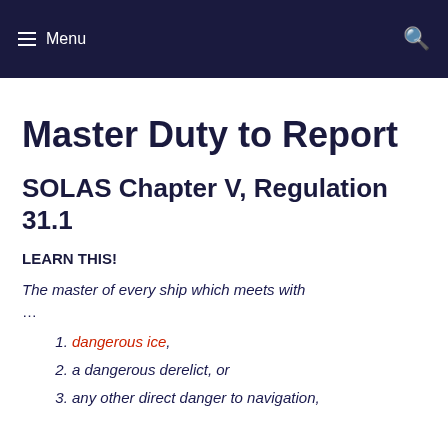Menu
Master Duty to Report
SOLAS Chapter V, Regulation 31.1
LEARN THIS!
The master of every ship which meets with
…
dangerous ice,
a dangerous derelict, or
any other direct danger to navigation,